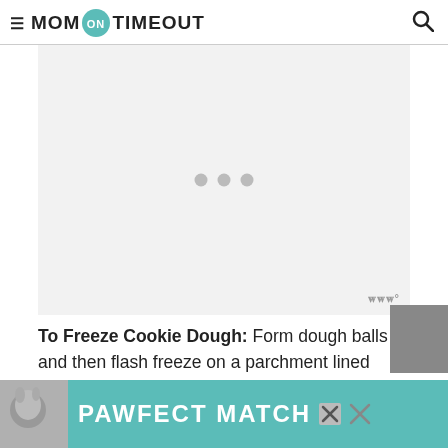MOM ON TIMEOUT
[Figure (other): Advertisement placeholder box with three gray dots centered, and triple-W logo in bottom right corner]
To Freeze Cookie Dough: Form dough balls and then flash freeze on a parchment lined baking sheet for 30 minutes. Transfer balls
[Figure (other): PAWFECT MATCH advertisement banner with dog photo on left and teal background]